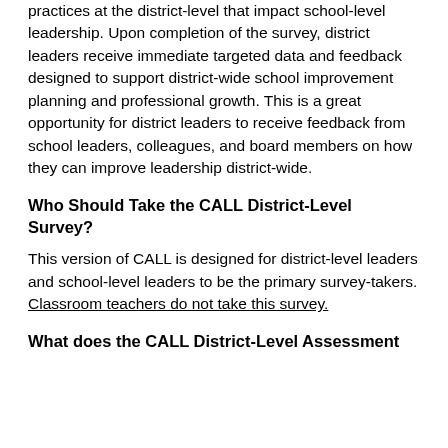practices at the district-level that impact school-level leadership. Upon completion of the survey, district leaders receive immediate targeted data and feedback designed to support district-wide school improvement planning and professional growth. This is a great opportunity for district leaders to receive feedback from school leaders, colleagues, and board members on how they can improve leadership district-wide.
Who Should Take the CALL District-Level Survey?
This version of CALL is designed for district-level leaders and school-level leaders to be the primary survey-takers. Classroom teachers do not take this survey.
What does the CALL District-Level Assessment